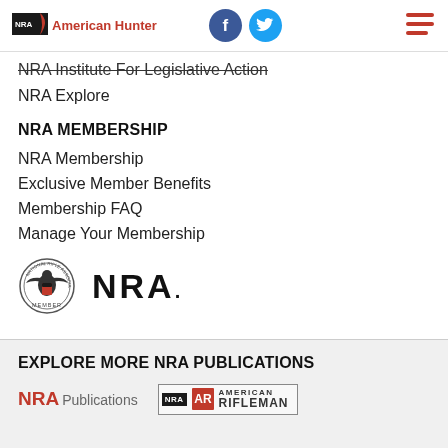NRA American Hunter
NRA Institute For Legislative Action
NRA Explore
NRA MEMBERSHIP
NRA Membership
Exclusive Member Benefits
Membership FAQ
Manage Your Membership
[Figure (logo): NRA Member seal and NRA wordmark logos]
EXPLORE MORE NRA PUBLICATIONS
[Figure (logo): NRA Publications logo and American Rifleman logo]